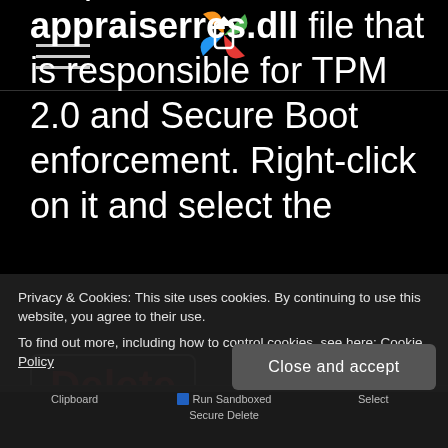[Figure (logo): Colorful arrow/cursor logo icon at top center of page]
Step 4. Now, locate the appraiserres.dll file that is responsible for TPM 2.0 and Secure Boot enforcement. Right-click on it and select the Delete option from the context menu.
[Figure (screenshot): Partially visible Delete button with red text, and context menu screenshot below the cookie banner]
Privacy & Cookies: This site uses cookies. By continuing to use this website, you agree to their use.
To find out more, including how to control cookies, see here: Cookie Policy
Close and accept
Clipboard  Run Sandboxed  Select  Secure Delete